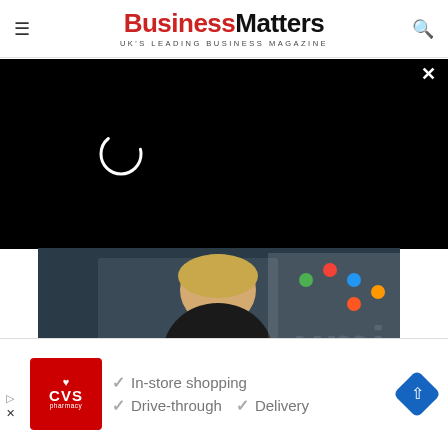BusinessMatters — UK'S LEADING BUSINESS MAGAZINE
[Figure (screenshot): Black video player overlay with loading spinner and close (×) button in top right corner]
[Figure (photo): Business woman with blonde hair seated in front of a UMI company logo banner. The UMI logo features colourful dots above lowercase letters 'umi' in grey.]
[Figure (other): CVS Pharmacy advertisement banner showing: CVS Pharmacy logo (red background with heart), checkmarks next to 'In-store shopping', 'Drive-through', 'Delivery', and a blue navigation diamond icon.]